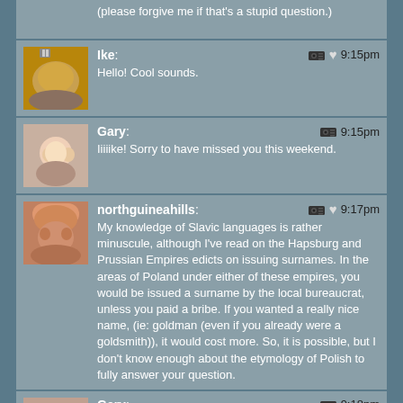(please forgive me if that's a stupid question.)
Ike: Hello! Cool sounds. 9:15pm
Gary: Iiiiike! Sorry to have missed you this weekend. 9:15pm
northguineahills: My knowledge of Slavic languages is rather minuscule, although I've read on the Hapsburg and Prussian Empires edicts on issuing surnames. In the areas of Poland under either of these empires, you would be issued a surname by the local bureaucrat, unless you paid a bribe. If you wanted a really nice name, (ie: goldman (even if you already were a goldsmith)), it would cost more. So, it is possible, but I don't know enough about the etymology of Polish to fully answer your question. 9:17pm
Gary: Whoa, I had no idea you could buy your way into a better name 9:18pm
northguineahills: 9:20pm